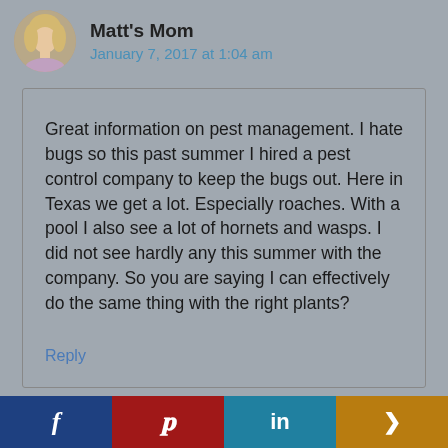[Figure (photo): Circular avatar photo of a woman with blonde hair]
Matt's Mom
January 7, 2017 at 1:04 am
Great information on pest management. I hate bugs so this past summer I hired a pest control company to keep the bugs out. Here in Texas we get a lot. Especially roaches. With a pool I also see a lot of hornets and wasps. I did not see hardly any this summer with the company. So you are saying I can effectively do the same thing with the right plants?
Reply
[Figure (other): Social sharing bar with Facebook, Pinterest, LinkedIn, and Share buttons]